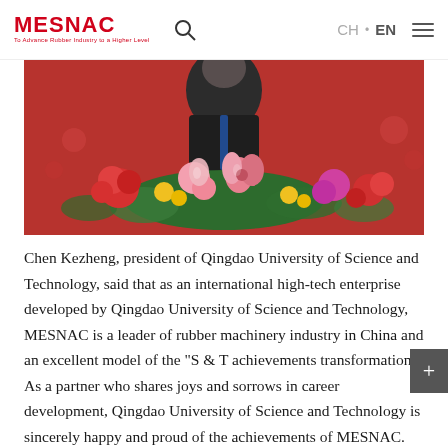MESNAC | CH • EN
[Figure (photo): Person in suit standing behind a floral arrangement with red, pink, white and yellow flowers against a red background]
Chen Kezheng, president of Qingdao University of Science and Technology, said that as an international high-tech enterprise developed by Qingdao University of Science and Technology, MESNAC is a leader of rubber machinery industry in China and an excellent model of the "S & T achievements transformation". As a partner who shares joys and sorrows in career development, Qingdao University of Science and Technology is sincerely happy and proud of the achievements of MESNAC. Based on a new starting point and facing the new era, it is hoped that Qingdao University of Science and Technology and MESNAC will further strengthen the connection, carry out